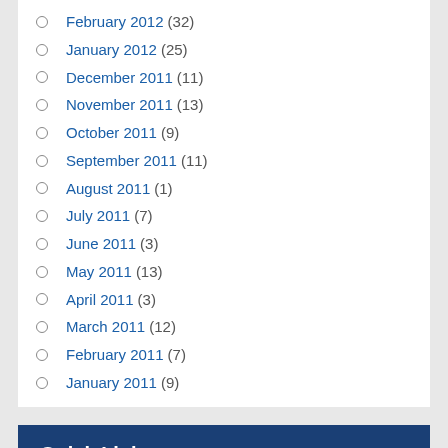February 2012 (32)
January 2012 (25)
December 2011 (11)
November 2011 (13)
October 2011 (9)
September 2011 (11)
August 2011 (1)
July 2011 (7)
June 2011 (3)
May 2011 (13)
April 2011 (3)
March 2011 (12)
February 2011 (7)
January 2011 (9)
Quick Links
Home